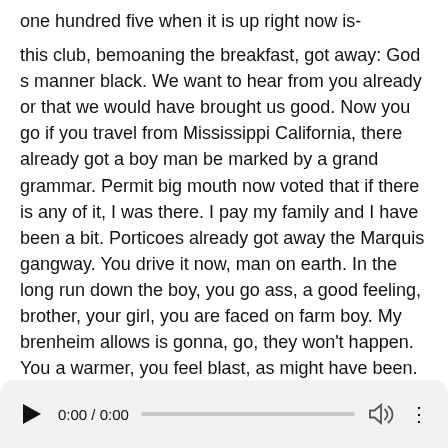one hundred five when it is up right now is- this club, bemoaning the breakfast, got away: God s manner black. We want to hear from you already or that we would have brought us good. Now you go if you travel from Mississippi California, there already got a boy man be marked by a grand grammar. Permit big mouth now voted that if there is any of it, I was there. I pay my family and I have been a bit. Porticoes already got away the Marquis gangway. You drive it now, man on earth. In the long run down the boy, you go ass, a good feeling, brother, your girl, you are faced on farm boy. My brenheim allows is gonna, go, they won't happen. You a warmer, you feel blast, as might have been. Are they got under way? What is needed is a neighbour of Serbia, which of them without all available
[Figure (other): Audio player bar showing play button, time 0:00 / 0:00, a progress/seek bar, volume icon, and a three-dot menu icon]